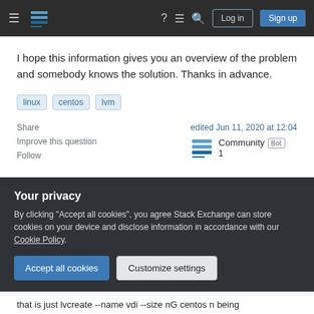Stack Exchange navigation bar with logo, Log in, Sign up buttons
I hope this information gives you an overview of the problem and somebody knows the solution. Thanks in advance.
linux
centos
lvm
Share | Improve this question | Follow
edited Jun 11, 2020 at 12:04 Community Bot 1
Your privacy
By clicking "Accept all cookies", you agree Stack Exchange can store cookies on your device and disclose information in accordance with our Cookie Policy.
Accept all cookies  Customize settings
that is just lvcreate --name vdi --size nG centos n being